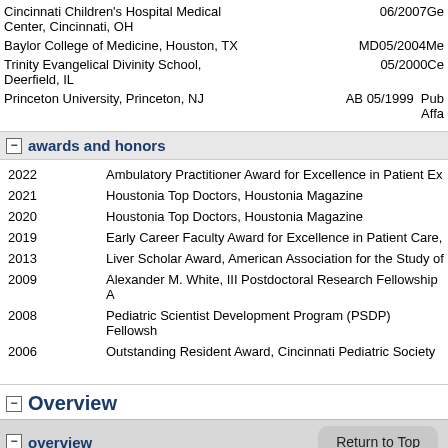| Institution | Date/Degree |
| --- | --- |
| Cincinnati Children's Hospital Medical Center, Cincinnati, OH | 06/2007 Ge... |
| Baylor College of Medicine, Houston, TX | MD 05/2004 Me... |
| Trinity Evangelical Divinity School, Deerfield, IL | 05/2000 Ce... |
| Princeton University, Princeton, NJ | AB 05/1999 Pub Affairs |
awards and honors
| Year | Award |
| --- | --- |
| 2022 | Ambulatory Practitioner Award for Excellence in Patient Ex... |
| 2021 | Houstonia Top Doctors, Houstonia Magazine |
| 2020 | Houstonia Top Doctors, Houstonia Magazine |
| 2019 | Early Career Faculty Award for Excellence in Patient Care,... |
| 2013 | Liver Scholar Award, American Association for the Study of... |
| 2009 | Alexander M. White, III Postdoctoral Research Fellowship A... |
| 2008 | Pediatric Scientist Development Program (PSDP) Fellowsh... |
| 2006 | Outstanding Resident Award, Cincinnati Pediatric Society |
Overview
overview
Dr. Chu is an Attending Physician in Pediatric Gastroenterology at Texas Ch...